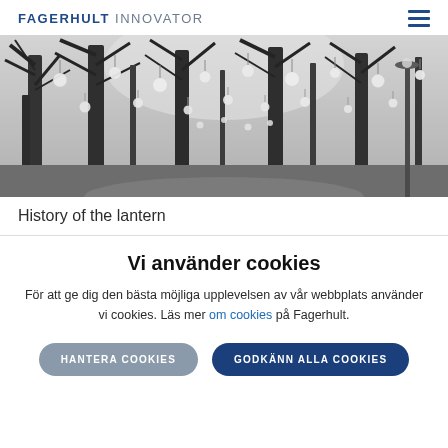FAGERHULT INNOVATOR
[Figure (photo): Black and white photo of a tree-lined avenue with round globe light pendants hanging between the trees in winter]
History of the lantern
Vi använder cookies
För att ge dig den bästa möjliga upplevelsen av vår webbplats använder vi cookies. Läs mer om cookies på Fagerhult.
HANTERA COOKIES | GODKÄNN ALLA COOKIES